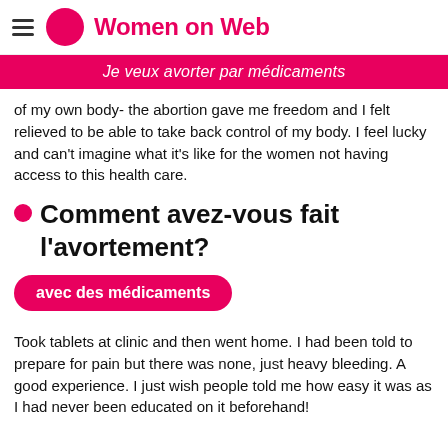Women on Web
Je veux avorter par médicaments
of my own body- the abortion gave me freedom and I felt relieved to be able to take back control of my body. I feel lucky and can't imagine what it's like for the women not having access to this health care.
Comment avez-vous fait l'avortement?
avec des médicaments
Took tablets at clinic and then went home. I had been told to prepare for pain but there was none, just heavy bleeding. A good experience. I just wish people told me how easy it was as I had never been educated on it beforehand!